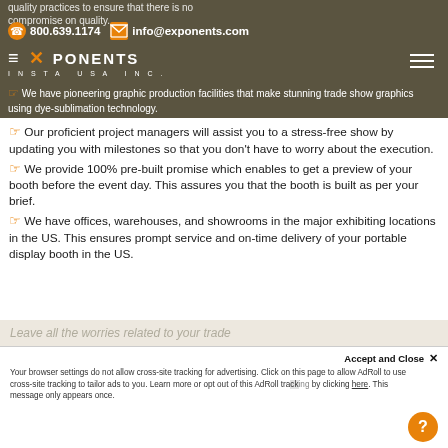quality practices to ensure that there is no compromise on quality.
📞 800.639.1174  ✉ info@exponents.com
[Figure (logo): Exponents Insta USA Inc. logo with orange X in dark olive header bar]
We have pioneering graphic production facilities that make stunning trade show graphics using dye-sublimation technology.
Our proficient project managers will assist you to a stress-free show by updating you with milestones so that you don't have to worry about the execution.
We provide 100% pre-built promise which enables to get a preview of your booth before the event day. This assures you that the booth is built as per your brief.
We have offices, warehouses, and showrooms in the major exhibiting locations in the US. This ensures prompt service and on-time delivery of your portable display booth in the US.
Leave all the worries related to your trade...
Accept and Close ✕
Your browser settings do not allow cross-site tracking for advertising. Click on this page to allow AdRoll to use cross-site tracking to tailor ads to you. Learn more or opt out of this AdRoll tracking by clicking here. This message only appears once.